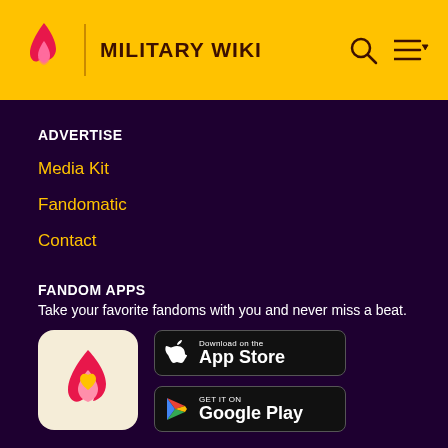MILITARY WIKI
ADVERTISE
Media Kit
Fandomatic
Contact
FANDOM APPS
Take your favorite fandoms with you and never miss a beat.
[Figure (logo): Fandom app icon with pink flame and yellow heart on cream background]
[Figure (screenshot): Download on the App Store button]
[Figure (screenshot): GET IT ON Google Play button]